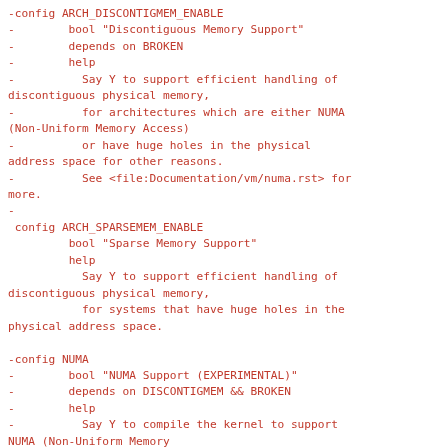-config ARCH_DISCONTIGMEM_ENABLE
-        bool "Discontiguous Memory Support"
-        depends on BROKEN
-        help
-          Say Y to support efficient handling of discontiguous physical memory,
-          for architectures which are either NUMA (Non-Uniform Memory Access)
-          or have huge holes in the physical address space for other reasons.
-          See <file:Documentation/vm/numa.rst> for more.
-
 config ARCH_SPARSEMEM_ENABLE
         bool "Sparse Memory Support"
         help
           Say Y to support efficient handling of discontiguous physical memory,
           for systems that have huge holes in the physical address space.

-config NUMA
-        bool "NUMA Support (EXPERIMENTAL)"
-        depends on DISCONTIGMEM && BROKEN
-        help
-          Say Y to compile the kernel to support NUMA (Non-Uniform Memory
-          Access).  This option is for configuring high-end multiprocessor
-          server machines.  If in doubt, say N.